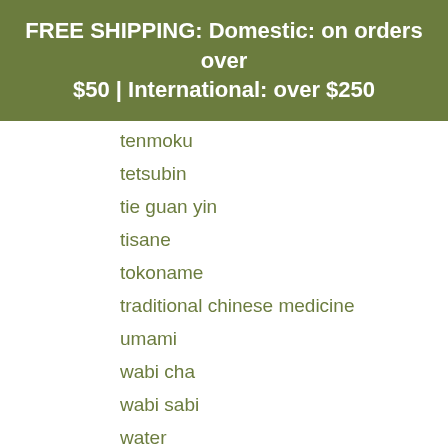FREE SHIPPING: Domestic: on orders over $50 | International: over $250
tenmoku
tetsubin
tie guan yin
tisane
tokoname
traditional chinese medicine
umami
wabi cha
wabi sabi
water
water temperature
wedding tea
western tea
[Figure (illustration): Chat bubble icon in olive/dark green color, circular shape with a smaller circle inside, positioned bottom right]